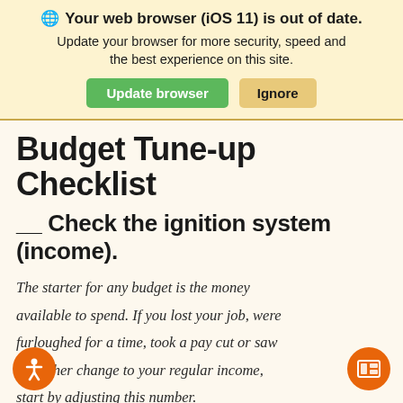Your web browser (iOS 11) is out of date. Update your browser for more security, speed and the best experience on this site.
Update browser | Ignore
Budget Tune-up Checklist
__ Check the ignition system (income).
The starter for any budget is the money available to spend. If you lost your job, were furloughed for a time, took a pay cut or saw any other change to your regular income, start by adjusting this number.